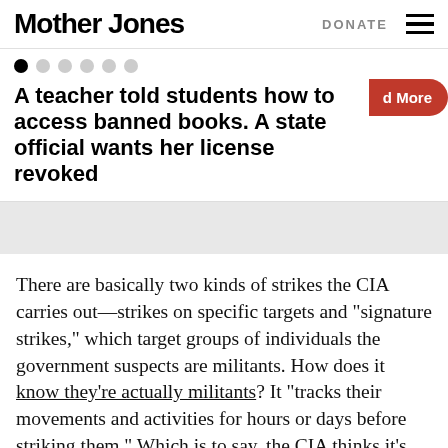Mother Jones | DONATE
A teacher told students how to access banned books. A state official wants her license revoked
There are basically two kinds of strikes the CIA carries out—strikes on specific targets and "signature strikes," which target groups of individuals the government suspects are militants. How does it know they're actually militants? It "tracks their movements and activities for hours or days before striking them." Which is to say, the CIA thinks it's getting the right people, but it doesn't